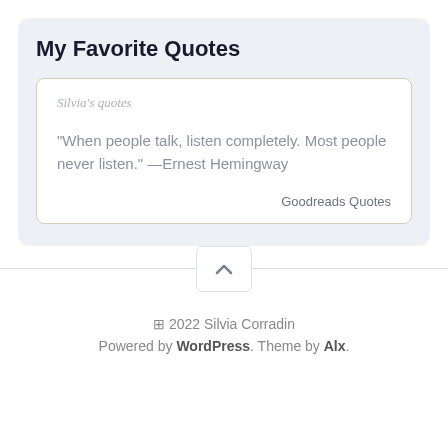My Favorite Quotes
Silvia's quotes
“When people talk, listen completely. Most people never listen.” —Ernest Hemingway
Goodreads Quotes
[Figure (other): Scroll-to-top chevron button]
© 2022 Silvia Corradin
Powered by WordPress. Theme by Alx.